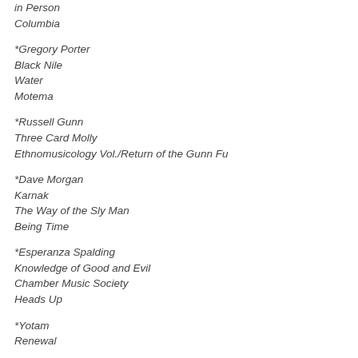in Person
Columbia
*Gregory Porter
Black Nile
Water
Motema
*Russell Gunn
Three Card Molly
Ethnomusicology Vol./Return of the Gunn Fu
*Dave Morgan
Karnak
The Way of the Sly Man
Being Time
*Esperanza Spalding
Knowledge of Good and Evil
Chamber Music Society
Heads Up
*Yotam
Renewal